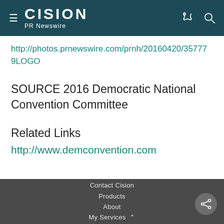CISION PR Newswire
http://photos.prnewswire.com/prnh/20160420/357779LOGO
SOURCE 2016 Democratic National Convention Committee
Related Links
http://www.demconvention.com
Contact Cision
Products
About
My Services